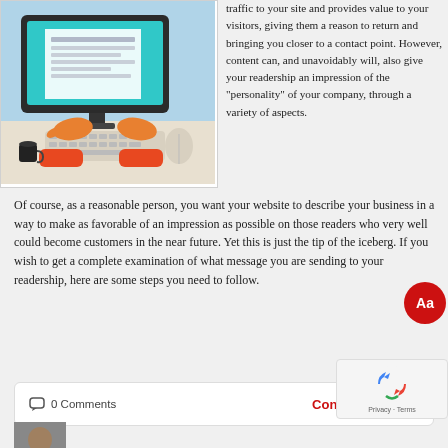[Figure (illustration): Illustration of a person typing on a keyboard with a computer monitor showing a document, on a blue/teal background]
traffic to your site and provides value to your visitors, giving them a reason to return and bringing you closer to a contact point. However, content can, and unavoidably will, also give your readership an impression of the “personality” of your company, through a variety of aspects. Of course, as a reasonable person, you want your website to describe your business in a way to make as favorable of an impression as possible on those readers who very well could become customers in the near future. Yet this is just the tip of the iceberg. If you wish to get a complete examination of what message you are sending to your readership, here are some steps you need to follow.
0 Comments
Continue reading
[Figure (photo): Small author avatar photo showing a man in a suit]
Campaigns: Not One and Done